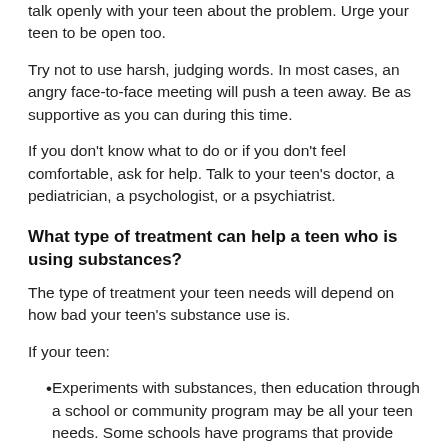talk openly with your teen about the problem. Urge your teen to be open too.
Try not to use harsh, judging words. In most cases, an angry face-to-face meeting will push a teen away. Be as supportive as you can during this time.
If you don't know what to do or if you don't feel comfortable, ask for help. Talk to your teen's doctor, a pediatrician, a psychologist, or a psychiatrist.
What type of treatment can help a teen who is using substances?
The type of treatment your teen needs will depend on how bad your teen's substance use is.
If your teen:
Experiments with substances, then education through a school or community program may be all your teen needs. Some schools have programs that provide support and substance use education.
Uses a substance at least weekly, then some form of